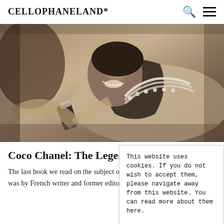CELLOPHANELAND*
[Figure (photo): Black and white sepia photograph of a woman (Coco Chanel) laughing and reclining, wearing pearl necklaces and a black and white outfit, with a bracelet on her wrist.]
Coco Chanel: The Legend And The Life
The last book we read on the subject of was by French writer and former editor
This website uses cookies. If you do not wish to accept them, please navigate away from this website. You can read more about them here.